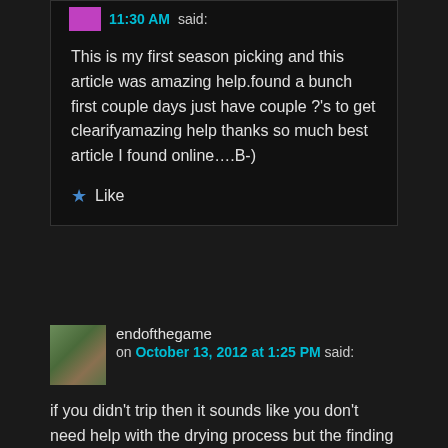11:30 AM said:
This is my first season picking and this article was amazing help.found a bunch first couple days just have couple ?'s to get clearifyamazing help thanks so much best article I found online….B-)
★ Like
endofthegame on October 13, 2012 at 1:25 PM said:
if you didn't trip then it sounds like you don't need help with the drying process but the finding process